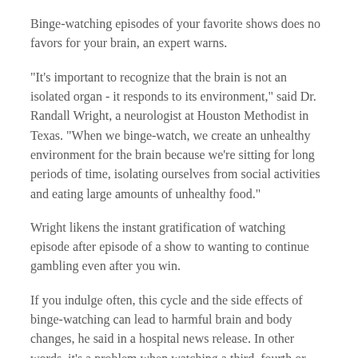Binge-watching episodes of your favorite shows does no favors for your brain, an expert warns.
"It's important to recognize that the brain is not an isolated organ - it responds to its environment," said Dr. Randall Wright, a neurologist at Houston Methodist in Texas. "When we binge-watch, we create an unhealthy environment for the brain because we're sitting for long periods of time, isolating ourselves from social activities and eating large amounts of unhealthy food."
Wright likens the instant gratification of watching episode after episode of a show to wanting to continue gambling even after you win.
If you indulge often, this cycle and the side effects of binge-watching can lead to harmful brain and body changes, he said in a hospital news release. In other words, it's a problem when watching a third, fourth or fifth episode of your favorite show replaces healthy activities, he said.